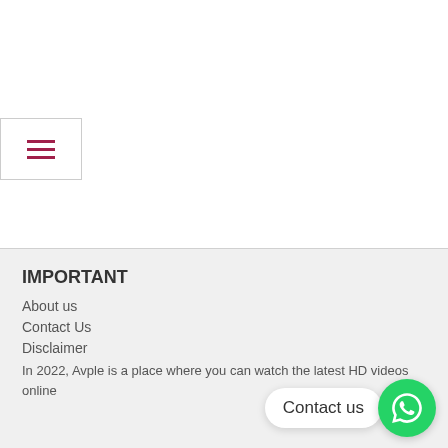[Figure (other): Hamburger menu button with three horizontal lines in dark red/crimson color, inside a white box with border]
IMPORTANT
About us
Contact Us
Disclaimer
In 2022, Avple is a place where you can watch the latest HD videos online
[Figure (other): WhatsApp contact widget with a speech bubble saying 'Contact us' and a green WhatsApp circle icon]